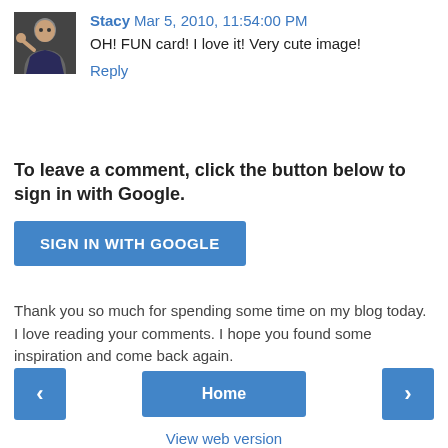[Figure (photo): Avatar photo of Stacy, a person wearing dark clothing against a dark background]
Stacy Mar 5, 2010, 11:54:00 PM
OH! FUN card! I love it! Very cute image!
Reply
To leave a comment, click the button below to sign in with Google.
SIGN IN WITH GOOGLE
Thank you so much for spending some time on my blog today. I love reading your comments. I hope you found some inspiration and come back again.
‹
Home
›
View web version
Powered by Blogger.